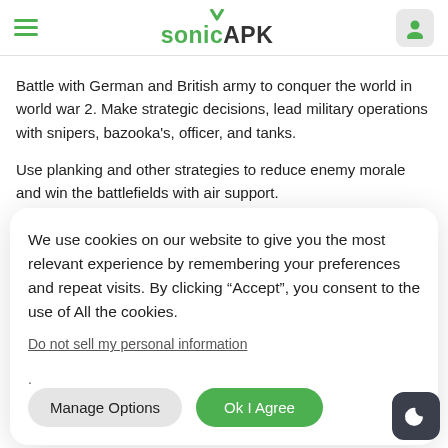sonicAPK
Battle with German and British army to conquer the world in world war 2. Make strategic decisions, lead military operations with snipers, bazooka's, officer, and tanks.
Use planking and other strategies to reduce enemy morale and win the battlefields with air support.
We use cookies on our website to give you the most relevant experience by remembering your preferences and repeat visits. By clicking “Accept”, you consent to the use of All the cookies.
Do not sell my personal information.